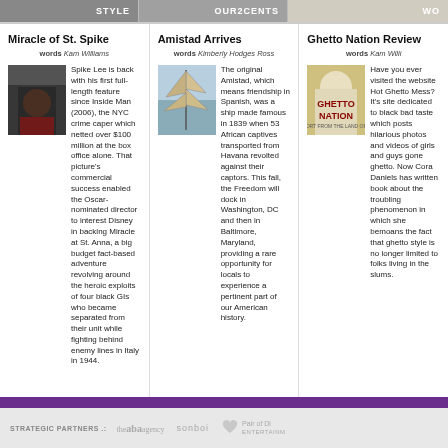STYLE | OUR2CENTS | WO
Miracle of St. Spike
words Kam Williams
Spike Lee is back with his first full-length feature since Inside Man (2006), the NYC crime caper which netted over $100 million at the box office alone. That picture's commercial success enabled the Oscar-nominated director to interest Disney in backing Miracle at St. Anna, a big budget fact-based adventure revolving around the heroic exploits of four black GIs who became separated from their unit while fighting behind enemy lines in Italy in 1944.
Amistad Arrives
words Kimberly Hodges Ross
The original Amistad, which means friendship in Spanish, was a ship made famous in 1839 when 53 African captives transported from Havana revolted against their captors. This fall, the Freedom will dock in Washington, DC and then in Baltimore, Maryland, providing a rare opportunity for locals to experience a pertinent part of our American history.
Ghetto Nation Review
words Kam Willi
Have you ever visited the website Hot Ghetto Mess? It's site dedicated to black bad taste which posts hilarious photos and videos of girls and guys gone ghetto. Now Cora Daniels has written book about the troubling phenomenon in which she bemoans the fact that ghetto style is no longer limited to folks living in the slums.
The Haps | Words | Our2cents | The Buzz | Careers | Business | Style | Foundation | P
Home | Contact    Advertise on FLOWinsiders.com    Privacy Policy
STRATEGIC PARTNERS .:
the aba agency   sonboi   Pair of Di ENTERTAINM